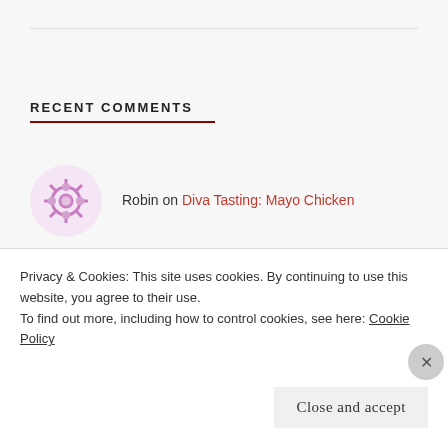RECENT COMMENTS
Robin on Diva Tasting: Mayo Chicken
CroneUno on Diva Tasting: About Balsamic V...
koolaidmoms on Diva Tasting: About Balsamic V...
Privacy & Cookies: This site uses cookies. By continuing to use this website, you agree to their use.
To find out more, including how to control cookies, see here: Cookie Policy
Close and accept